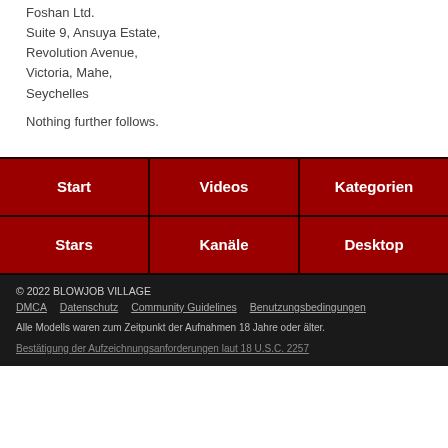Foshan Ltd.
Suite 9, Ansuya Estate,
Revolution Avenue,
Victoria, Mahe,
Seychelles
Nothing further follows.
| Start | Videos | Kategorien |
| --- | --- | --- |
| Stars | Kanäle | Desktop |
© 2022 BLOWJOB VILLAGE
DMCA   Datenschutz   Community Guidelines   Benutzungsbedingungen
Alle Modells waren zum Zeitpunkt der Aufnahmen 18 Jahre oder älter.
Bestätigung der Aufzeichnungsanforderungen laut 18 U.S.C. 2257